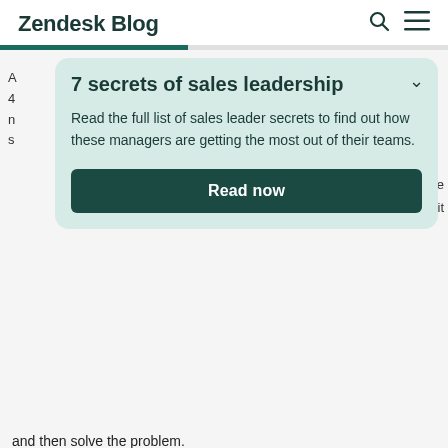Zendesk Blog
7 secrets of sales leadership
Read the full list of sales leader secrets to find out how these managers are getting the most out of their teams.
Read now
and then solve the problem.
Use the Challenger sales methodology if: